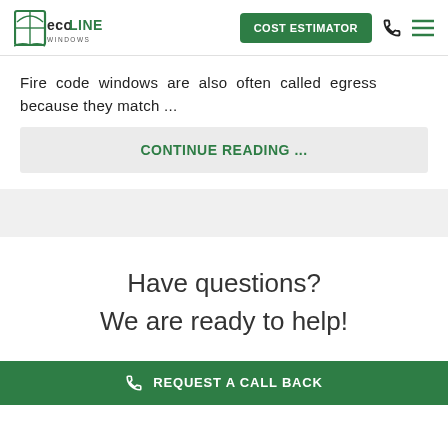eco LINE WINDOWS | COST ESTIMATOR
Fire code windows are also often called egress because they match ...
CONTINUE READING ...
Have questions?
We are ready to help!
REQUEST A CALL BACK